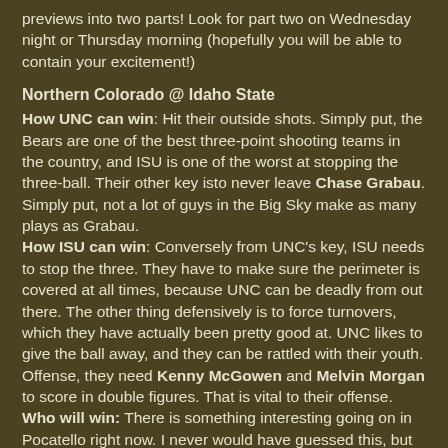previews into two parts! Look for part two on Wednesday night or Thursday morning (hopefully you will be able to contain your excitement!)
Northern Colorado @ Idaho State
How UNC can win: Hit their outside shots. Simply put, the Bears are one of the best three-point shooting teams in the country, and ISU is one of the worst at stopping the three-ball. Their other key isto never leave Chase Grabau. Simply put, not a lot of guys in the Big Sky make as many plays as Grabau.
How ISU can win: Conversely from UNC's key, ISU needs to stop the three. They have to make sure the perimeter is covered at all times, because UNC can be deadly from out there. The other thing defensively is to force turnovers, which they have actually been pretty good at. UNC likes to give the ball away, and they can be rattled with their youth. Offense, they need Kenny McGowen and Melvin Morgan to score in double figures. That is vital to their offense.
Who will win: There is something interesting going on in Pocatello right now. I never would have guessed this, but they have a great chance to be 4-4 in the Big Sky. After the